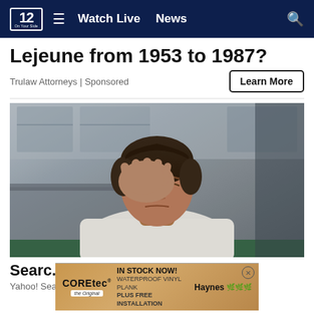NBC 12 | Watch Live | News
Lejeune from 1953 to 1987?
Trulaw Attorneys | Sponsored
[Figure (photo): Young man in white t-shirt sitting with his hand over his face in distress, kitchen background blurred]
Searc...nts
Yahoo! Sea...
COREtec the Original | IN STOCK NOW! WATERPROOF VINYL PLANK PLUS FREE INSTALLATION | Haynes